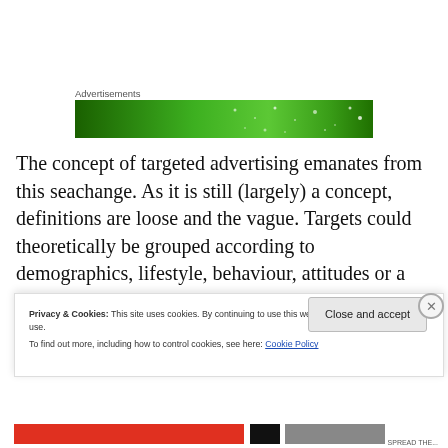Advertisements
[Figure (other): Green advertisement banner with gradient and dot pattern]
The concept of targeted advertising emanates from this seachange. As it is still (largely) a concept, definitions are loose and the vague. Targets could theoretically be grouped according to demographics, lifestyle, behaviour, attitudes or a combination thereof. While an internet connection is the likeliest means of delivery, it is not the
Privacy & Cookies: This site uses cookies. By continuing to use this website, you agree to their use.
To find out more, including how to control cookies, see here: Cookie Policy
Close and accept